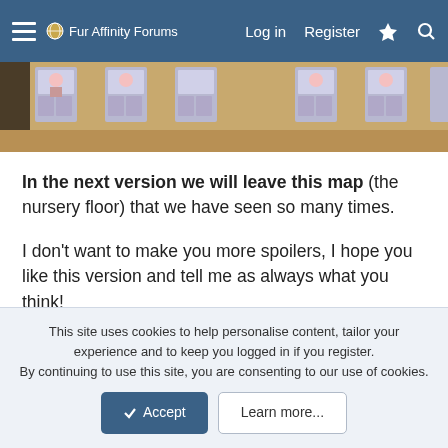Fur Affinity Forums  Log in  Register
[Figure (screenshot): Top portion of a game screenshot showing a nursery floor map with character sprites visible through windows of a building with a tan/wood-colored wall.]
In the next version we will leave this map (the nursery floor) that we have seen so many times.
I don't want to make you more spoilers, I hope you like this version and tell me as always what you think!
See you in the next post my babies! I hope you have a super great weekend! Little kisses~
This site uses cookies to help personalise content, tailor your experience and to keep you logged in if you register.
By continuing to use this site, you are consenting to our use of cookies.